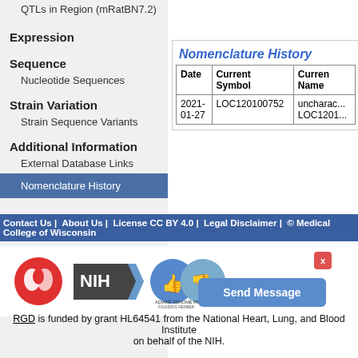QTLs in Region (mRatBN7.2)
Expression
Sequence
Nucleotide Sequences
Strain Variation
Strain Sequence Variants
Additional Information
External Database Links
Nomenclature History
Nomenclature History
| Date | Current Symbol | Current Name |
| --- | --- | --- |
| 2021-01-27 | LOC120100752 | uncharac... LOC1201... |
Contact Us | About Us | License CC BY 4.0 | Legal Disclaimer | © Medical College of Wisconsin
[Figure (logo): Medical College of Wisconsin logo (red circular icon)]
[Figure (logo): NIH logo (dark arrow with NIH text)]
[Figure (logo): ADIANE Genome Resources Founding Member logo with thumbs up/down icons]
Send Message
RGD is funded by grant HL64541 from the National Heart, Lung, and Blood Institute on behalf of the NIH.